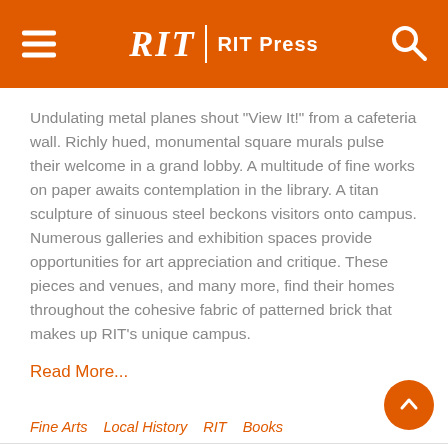RIT | RIT Press
Undulating metal planes shout "View It!" from a cafeteria wall. Richly hued, monumental square murals pulse their welcome in a grand lobby. A multitude of fine works on paper awaits contemplation in the library. A titan sculpture of sinuous steel beckons visitors onto campus. Numerous galleries and exhibition spaces provide opportunities for art appreciation and critique. These pieces and venues, and many more, find their homes throughout the cohesive fabric of patterned brick that makes up RIT's unique campus.
Read More...
Fine Arts
Local History
RIT
Books